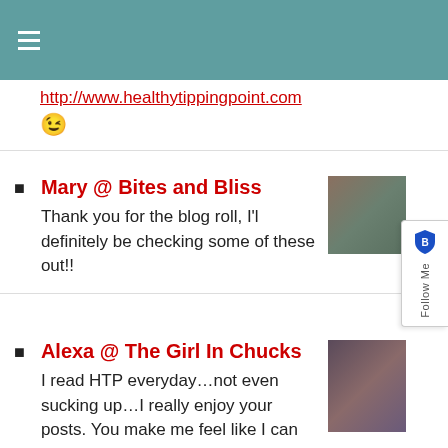≡
http://www.healthytippingpoint.com
😉
Mary @ Bites and Bliss
Thank you for the blog roll, I'l definitely be checking some of these out!!
Alexa @ The Girl In Chucks
I read HTP everyday…not even sucking up…I really enjoy your posts. You make me feel like I can climb mountains, leap over tall buildings or you know,